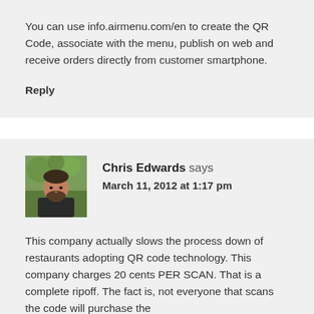You can use info.airmenu.com/en to create the QR Code, associate with the menu, publish on web and receive orders directly from customer smartphone.
Reply
Chris Edwards says
March 11, 2012 at 1:17 pm
[Figure (photo): Avatar photo of Chris Edwards, a man with beard wearing dark shirt, outdoors with green foliage background]
This company actually slows the process down of restaurants adopting QR code technology. This company charges 20 cents PER SCAN. That is a complete ripoff. The fact is, not everyone that scans the code will purchase the